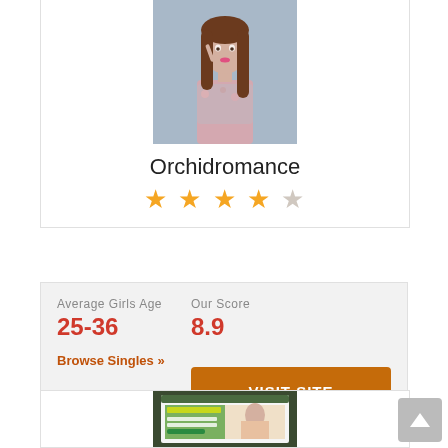[Figure (photo): Profile photo of a young woman with long brown hair wearing a floral outfit, finger near face]
Orchidromance
[Figure (other): 4.5 star rating shown as golden stars]
Average Girls Age
25-36
Our Score
8.9
Browse Singles »
VISIT SITE
[Figure (screenshot): Screenshot of a dating website with FREE Registration banner, a woman in pink, and green registration form]